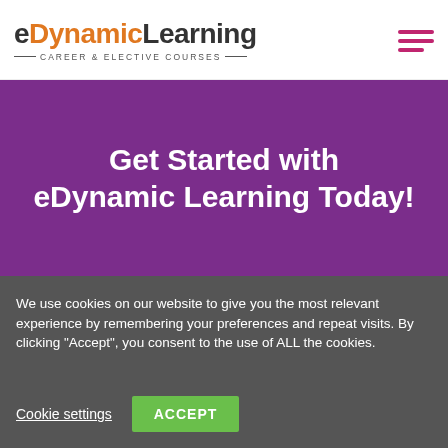[Figure (logo): eDynamic Learning logo with orange and dark text, 'Career & Elective Courses' tagline, and a pink hamburger menu icon on the right]
Get Started with eDynamic Learning Today!
We use cookies on our website to give you the most relevant experience by remembering your preferences and repeat visits. By clicking “Accept”, you consent to the use of ALL the cookies.
Cookie settings   ACCEPT